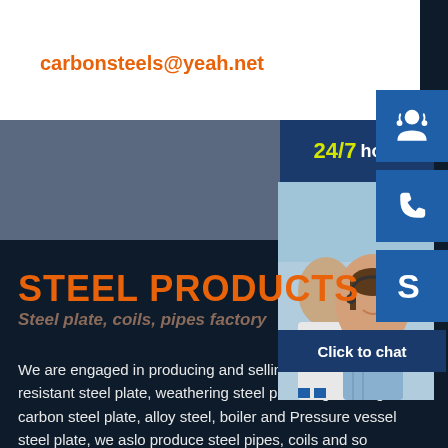carbonsteels@yeah.net
[Figure (infographic): 24/7 hour customer support badge with headset, phone, and Skype icons, plus a photo of customer service representatives and a Click to chat button]
STEEL PRODUCTS
Steel plate, coils, pipes factory
We are engaged in producing and selling stainless steel, wear resistant steel plate, weathering steel plate, high strength carbon steel plate, alloy steel, boiler and Pressure vessel steel plate, we aslo produce steel pipes, coils and so